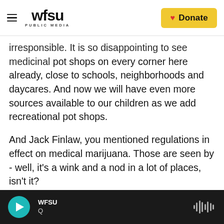WFSU PUBLIC MEDIA | Donate
irresponsible. It is so disappointing to see medicinal pot shops on every corner here already, close to schools, neighborhoods and daycares. And now we will have even more sources available to our children as we add recreational pot shops.
And Jack Finlaw, you mentioned regulations in effect on medical marijuana. Those are seen by - well, it's a wink and a nod in a lot of places, isn't it?
FINLAW: Well, you know, we have very strict controls over who can have access to medical marijuana. Also, thanks to some guidance from our U.S. attorney, any medical marijuana dispensaries
WFSU | Q